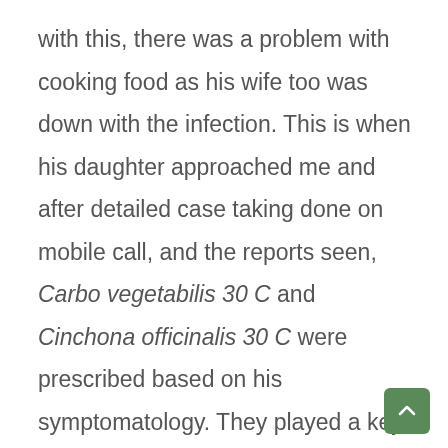with this, there was a problem with cooking food as his wife too was down with the infection. This is when his daughter approached me and after detailed case taking done on mobile call, and the reports seen, Carbo vegetabilis 30 C and Cinchona officinalis 30 C were prescribed based on his symptomatology. They played a key role in treating his acute condition. With improvement settling in, his steroid medicines were